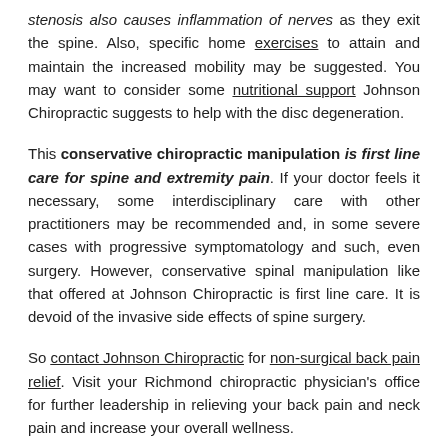stenosis also causes inflammation of nerves as they exit the spine. Also, specific home exercises to attain and maintain the increased mobility may be suggested. You may want to consider some nutritional support Johnson Chiropractic suggests to help with the disc degeneration.
This conservative chiropractic manipulation is first line care for spine and extremity pain. If your doctor feels it necessary, some interdisciplinary care with other practitioners may be recommended and, in some severe cases with progressive symptomatology and such, even surgery. However, conservative spinal manipulation like that offered at Johnson Chiropractic is first line care. It is devoid of the invasive side effects of spine surgery.
So contact Johnson Chiropractic for non-surgical back pain relief. Visit your Richmond chiropractic physician's office for further leadership in relieving your back pain and neck pain and increase your overall wellness.